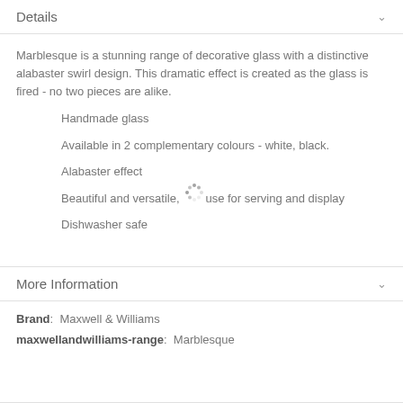Details
Marblesque is a stunning range of decorative glass with a distinctive alabaster swirl design. This dramatic effect is created as the glass is fired - no two pieces are alike.
Handmade glass
Available in 2 complementary colours - white, black.
Alabaster effect
Beautiful and versatile, use for serving and display
Dishwasher safe
More Information
Brand:  Maxwell & Williams
maxwellandwilliams-range:  Marblesque